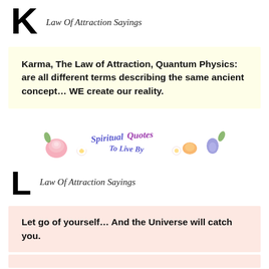K  Law Of Attraction Sayings
Karma, The Law of Attraction, Quantum Physics: are all different terms describing the same ancient concept… WE create our reality.
[Figure (logo): Spiritual Quotes To Live By logo with decorative flowers and stylized text]
L  Law Of Attraction Sayings
Let go of yourself… And the Universe will catch you.